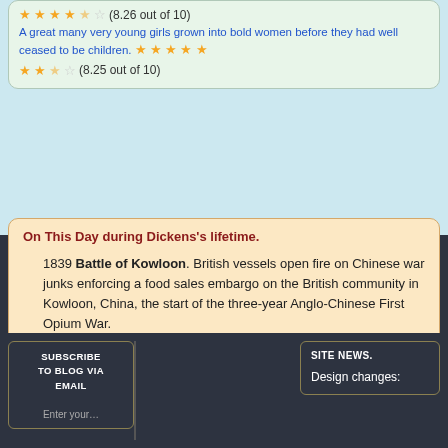A great many very young girls grown into bold women before they had well ceased to be children. (8.25 out of 10)
On This Day during Dickens's lifetime.
1839 Battle of Kowloon. British vessels open fire on Chinese war junks enforcing a food sales embargo on the British community in Kowloon, China, the start of the three-year Anglo-Chinese First Opium War.
SUBSCRIBE TO BLOG VIA EMAIL
SITE NEWS.
Design changes: